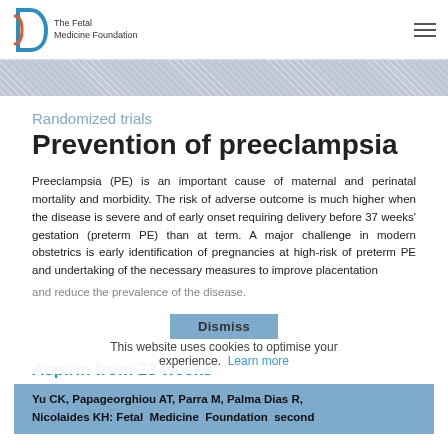The Fetal Medicine Foundation
Randomized trials
Prevention of preeclampsia
Preeclampsia (PE) is an important cause of maternal and perinatal mortality and morbidity. The risk of adverse outcome is much higher when the disease is severe and of early onset requiring delivery before 37 weeks' gestation (preterm PE) than at term. A major challenge in modern obstetrics is early identification of pregnancies at high-risk of preterm PE and undertaking of the necessary measures to improve placentation and reduce the prevalence of the disease.
This website uses cookies to optimise your experience. Learn more
Aspirin from 23 weeks
Yu CK, Papageorghiou AT, Parra M, Palma Dias R, Nicolaides KH: Fetal Medicine Foundation second